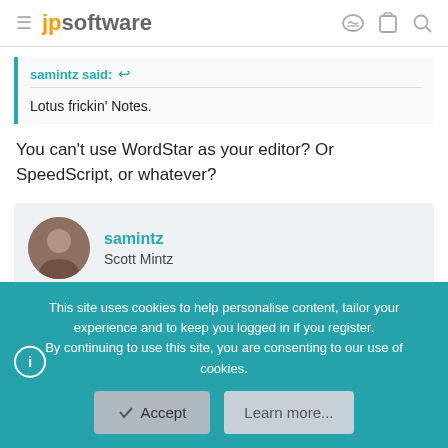jpsoftware
samintz said:
Lotus frickin' Notes.
You can't use WordStar as your editor? Or SpeedScript, or whatever?
samintz
Scott Mintz
This site uses cookies to help personalise content, tailor your experience and to keep you logged in if you register.
By continuing to use this site, you are consenting to our use of cookies.